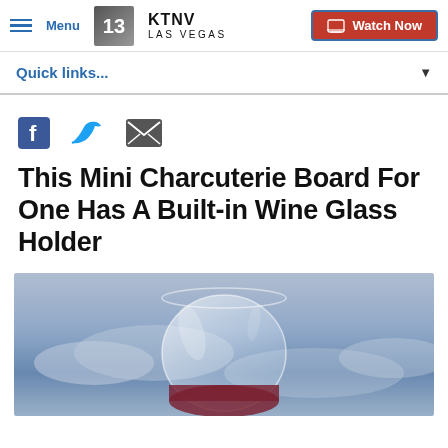Menu | KTNV LAS VEGAS | Watch Now
Quick links...
[Figure (screenshot): Social sharing icons: Facebook, Twitter, Email]
This Mini Charcuterie Board For One Has A Built-in Wine Glass Holder
[Figure (photo): Photo of a stemless wine glass with red wine, against a cloudy sky background]